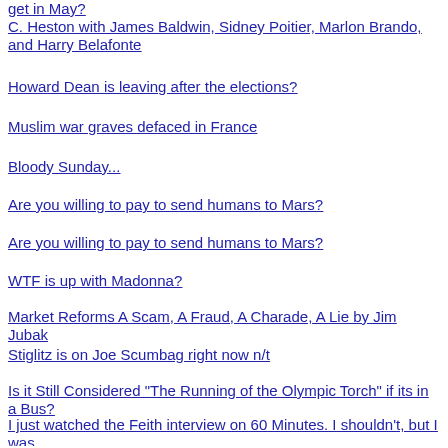get in May?
C. Heston with James Baldwin, Sidney Poitier, Marlon Brando, and Harry Belafonte
Howard Dean is leaving after the elections?
Muslim war graves defaced in France
Bloody Sunday...
Are you willing to pay to send humans to Mars?
Are you willing to pay to send humans to Mars?
WTF is up with Madonna?
Market Reforms A Scam, A Fraud, A Charade, A Lie by Jim Jubak
Stiglitz is on Joe Scumbag right now n/t
Is it Still Considered "The Running of the Olympic Torch" if its in a Bus?
I just watched the Feith interview on 60 Minutes. I shouldn't, but I was
Is anybody an expert on security clearances?
Joseph Stiglitz and Linda Bilmes: $3 Trillion May Be Too Low
Afghanistan probes civilian deaths claim: ministry
I'm going to see James Baker speak in Norfolk, VA Tuesday night. What should I ask